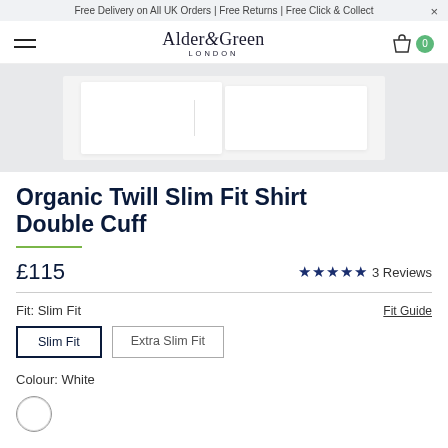Free Delivery on All UK Orders | Free Returns | Free Click & Collect
[Figure (logo): Alder & Green London logo with hamburger menu and shopping bag icon with 0 badge]
[Figure (photo): Product image showing white shirt folded, displayed on light grey background]
Organic Twill Slim Fit Shirt Double Cuff
£115
★★★★★ 3 Reviews
Fit: Slim Fit
Fit Guide
Slim Fit
Extra Slim Fit
Colour: White